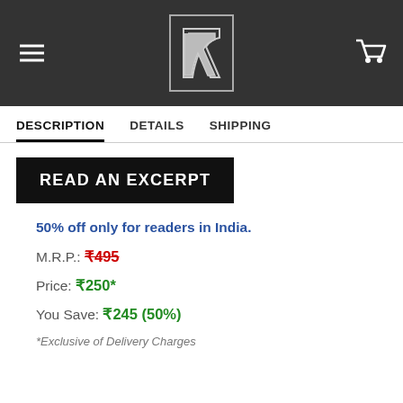Navigation header with hamburger menu, logo, and cart icon
DESCRIPTION   DETAILS   SHIPPING
[Figure (other): READ AN EXCERPT button — black rectangle with white bold text]
50% off only for readers in India.
M.R.P.: ₹495
Price: ₹250*
You Save: ₹245 (50%)
*Exclusive of Delivery Charges